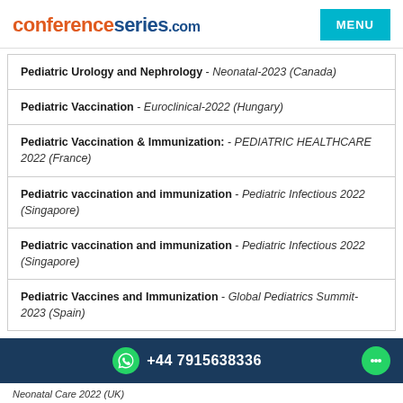conferenceseries.com | MENU
Pediatric Urology and Nephrology - Neonatal-2023 (Canada)
Pediatric Vaccination - Euroclinical-2022 (Hungary)
Pediatric Vaccination & Immunization: - PEDIATRIC HEALTHCARE 2022 (France)
Pediatric vaccination and immunization - Pediatric Infectious 2022 (Singapore)
Pediatric vaccination and immunization - Pediatric Infectious 2022 (Singapore)
Pediatric Vaccines and Immunization - Global Pediatrics Summit-2023 (Spain)
+44 7915638336
Neonatal Care 2022 (UK)